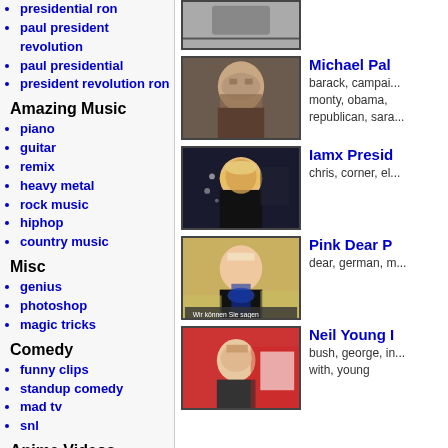presidential ron
paul president revolution
paul presidential
president revolution ron
Amazing Music
piano
guitar
remix
heavy metal
rock music
hiphop
country music
Misc
genius
photoshop
magic tricks
Comedy
funny clips
standup comedy
mad tv
snl
Anime Videos
Full Anime Episodes
TV & Movies
adult_swim
harry potter
[Figure (photo): Video thumbnail - cropped top image]
[Figure (photo): Michael Palin video thumbnail - man with beard]
Michael Pal... barack, campai... monty, obama, republican, sara...
[Figure (photo): Iamx President video thumbnail - person with white hat]
Iamx Presid... chris, corner, el...
[Figure (photo): Pink Dear P video thumbnail - blonde woman singing]
Pink Dear P... dear, german, m...
[Figure (photo): Neil Young video thumbnail - man at podium]
Neil Young I... bush, george, in... with, young